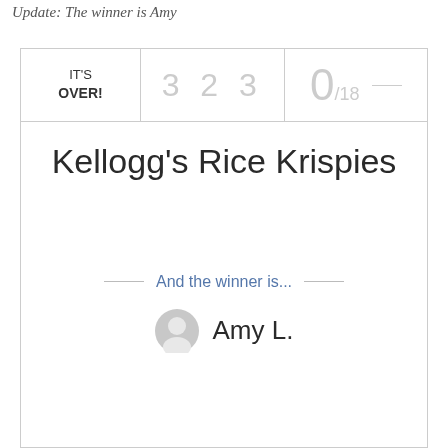Update: The winner is Amy
[Figure (screenshot): A contest card UI showing 'IT'S OVER!' with count 3 2 3, 0/18 indicator, product name 'Kellogg's Rice Krispies', 'And the winner is...' section, and winner 'Amy L.' with avatar icon.]